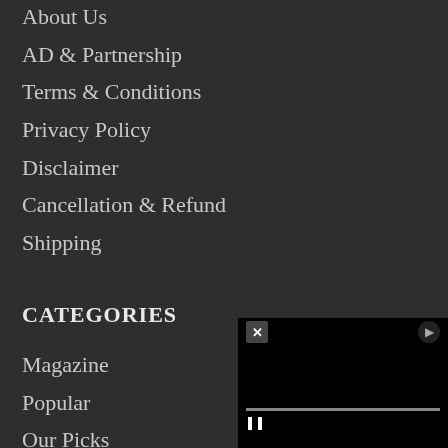About Us
AD & Partnership
Terms & Conditions
Privacy Policy
Disclaimer
Cancellation & Refund
Shipping
CATEGORIES
Magazine
Popular
Our Picks
Authors
Personal Finance
Investor Interest
Public Interest
Consumer Interest
Economy & Nation
[Figure (screenshot): Video player overlay with close (X) button, settings icon, black screen, progress bar, and pause button controls]